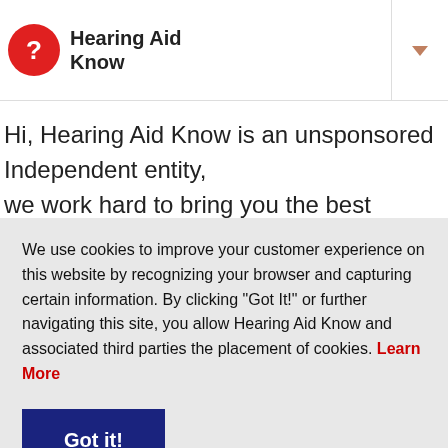Hearing Aid Know
Hi, Hearing Aid Know is an unsponsored Independent entity, we work hard to bring you the best independent advice on
We use cookies to improve your customer experience on this website by recognizing your browser and capturing certain information. By clicking “Got It!” or further navigating this site, you allow Hearing Aid Know and associated third parties the placement of cookies. Learn More
Got it!